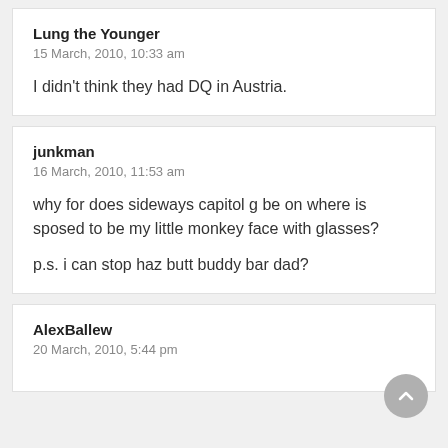Lung the Younger
15 March, 2010, 10:33 am
I didn't think they had DQ in Austria.
junkman
16 March, 2010, 11:53 am
why for does sideways capitol g be on where is sposed to be my little monkey face with glasses?

p.s. i can stop haz butt buddy bar dad?
AlexBallew
20 March, 2010, 5:44 pm